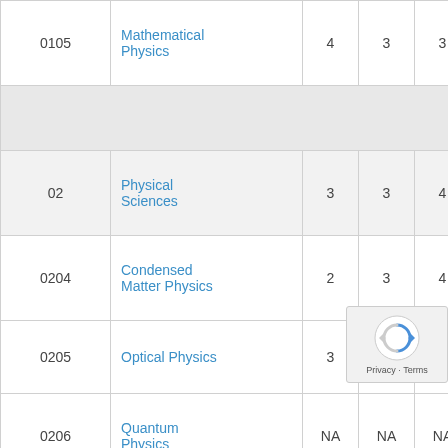| Code | Field | Col1 | Col2 | Col3 |
| --- | --- | --- | --- | --- |
| 0105 | Mathematical Physics | 4 | 3 | 3 |
|  |  |  |  |  |
| 02 | Physical Sciences | 3 | 3 | 4 |
| 0204 | Condensed Matter Physics | 2 | 3 | 4 |
| 0205 | Optical Physics | 3 | 3 | 4 |
| 0206 | Quantum Physics | NA | NA | NA |
|  |  |  |  |  |
|  | Plasma... |  |  |  |